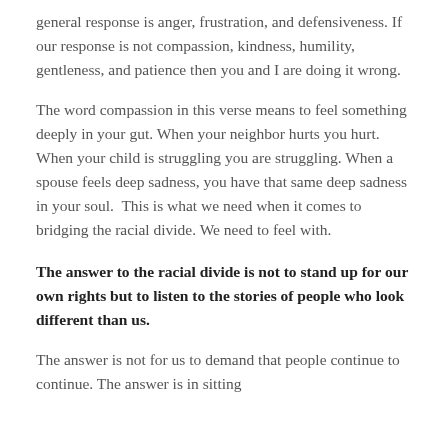general response is anger, frustration, and defensiveness. If our response is not compassion, kindness, humility, gentleness, and patience then you and I are doing it wrong.
The word compassion in this verse means to feel something deeply in your gut. When your neighbor hurts you hurt. When your child is struggling you are struggling. When a spouse feels deep sadness, you have that same deep sadness in your soul.  This is what we need when it comes to bridging the racial divide. We need to feel with.
The answer to the racial divide is not to stand up for our own rights but to listen to the stories of people who look different than us.
The answer is not for us to demand that people continue to continue. The answer is in sitting